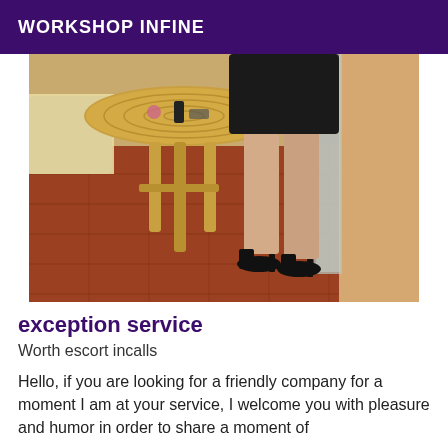WORKSHOP INFINE
[Figure (photo): A person standing next to a round wicker/rattan table in a room with terracotta tile floor, wearing a black dress and black high heels. A mirror or glass door is visible on the right side.]
exception service
Worth escort incalls
Hello, if you are looking for a friendly company for a moment I am at your service, I welcome you with pleasure and humor in order to share a moment of